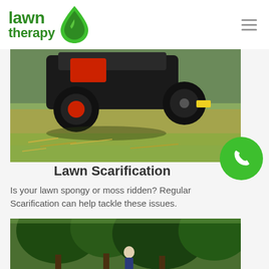lawn therapy
[Figure (photo): Close-up of a lawn scarification machine working on grass, pulling up thatch and dead grass material]
Lawn Scarification
Is your lawn spongy or moss ridden? Regular Scarification can help tackle these issues.
[Figure (photo): Outdoor scene with trees and a person standing in a garden setting]